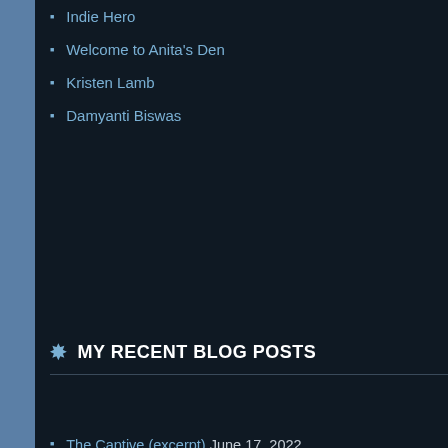Indie Hero
Welcome to Anita's Den
Kristen Lamb
Damyanti Biswas
MY RECENT BLOG POSTS
The Captive (excerpt) June 17, 2022
Reckoning! Free Dec 15-17 December 14, 2021
Denial! Free…3 days only! December 11, 2021
Reprieve! Free! 3 days only… December 7, 2021
Salvation! and it's free… (two days only) November 30, 2021
Privacy & Cookies: This site uses cookies. By continuing to use this website, you agree to their use.
To find out more, including how to control cookies, see here: Cookie Policy
Close and accept